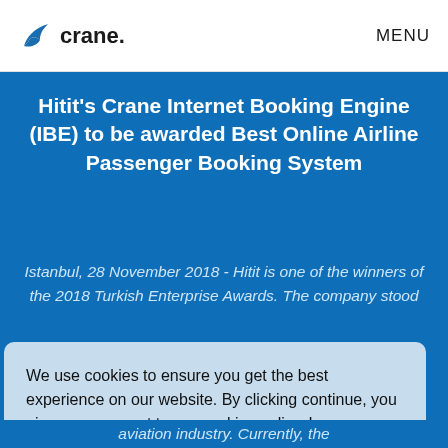crane. MENU
Hitit's Crane Internet Booking Engine (IBE) to be awarded Best Online Airline Passenger Booking System
Istanbul, 28 November 2018 - Hitit is one of the winners of the 2018 Turkish Enterprise Awards. The company stood
We use cookies to ensure you get the best experience on our website. By clicking continue, you give your consent to our cookies policy. Learn more
aviation industry. Currently, the